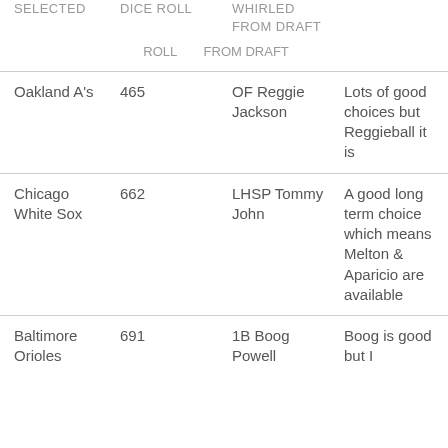| SELECTED | DICE ROLL | WHIRLED FROM DRAFT |  |
| --- | --- | --- | --- |
| Oakland A's | 465 | OF Reggie Jackson | Lots of good choices but Reggieball it is |
| Chicago White Sox | 662 | LHSP Tommy John | A good long term choice which means Melton & Aparicio are available |
| Baltimore Orioles | 691 | 1B Boog Powell | Boog is good but I |